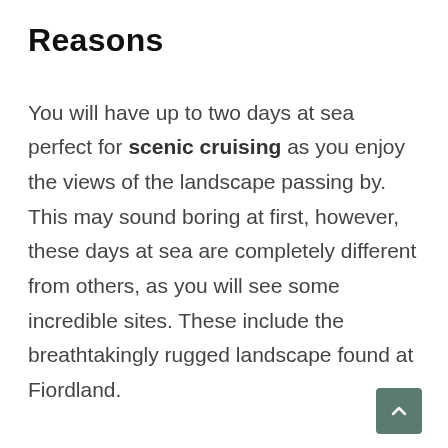Reasons
You will have up to two days at sea perfect for scenic cruising as you enjoy the views of the landscape passing by. This may sound boring at first, however, these days at sea are completely different from others, as you will see some incredible sites. These include the breathtakingly rugged landscape found at Fiordland.
The New Zealand-only sailings can experience rough waters when sailing further into the ocean during the outside